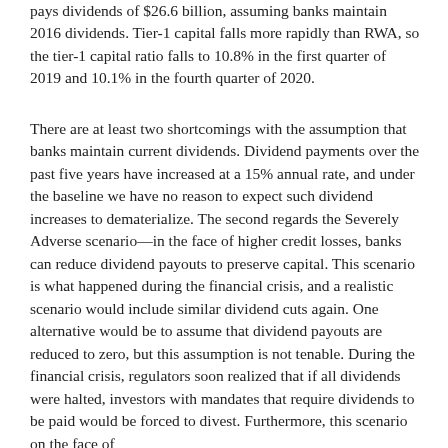pays dividends of $26.6 billion, assuming banks maintain 2016 dividends. Tier-1 capital falls more rapidly than RWA, so the tier-1 capital ratio falls to 10.8% in the first quarter of 2019 and 10.1% in the fourth quarter of 2020.
There are at least two shortcomings with the assumption that banks maintain current dividends. Dividend payments over the past five years have increased at a 15% annual rate, and under the baseline we have no reason to expect such dividend increases to dematerialize. The second regards the Severely Adverse scenario—in the face of higher credit losses, banks can reduce dividend payouts to preserve capital. This scenario is what happened during the financial crisis, and a realistic scenario would include similar dividend cuts again. One alternative would be to assume that dividend payouts are reduced to zero, but this assumption is not tenable. During the financial crisis, regulators soon realized that if all dividends were halted, investors with mandates that require dividends to be paid would be forced to divest. Furthermore, this scenario on the face of...